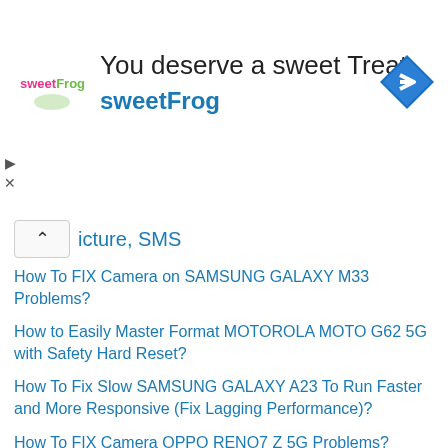[Figure (infographic): sweetFrog advertisement banner with logo, text 'You deserve a sweet Treat', brand name 'sweetFrog', navigation arrow icon, and play/close controls]
icture, SMS
How To FIX Camera on SAMSUNG GALAXY M33 Problems?
How to Easily Master Format MOTOROLA MOTO G62 5G with Safety Hard Reset?
How To Fix Slow SAMSUNG GALAXY A23 To Run Faster and More Responsive (Fix Lagging Performance)?
How To FIX Camera OPPO RENO7 Z 5G Problems?
Tags
acer acer hard reset alcatel android hard reset android one apple Asus asus hard reset and master format fix camera google Google Nexus Hard Reset with Safety and Recomended way hard reset asus hard reset google hard reset huawei hard reset